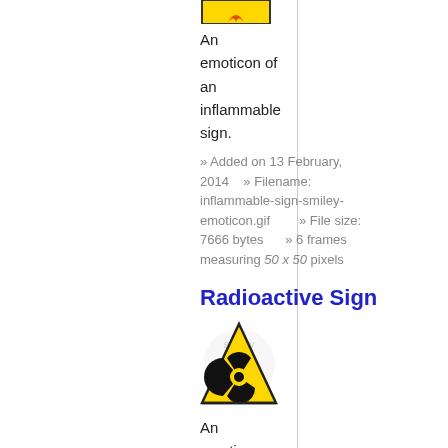[Figure (illustration): An emoticon/animated icon of an inflammable warning sign (yellow triangle with flame symbol) at the top of the page]
An emoticon of an inflammable sign.
» Added on 13 February, 2014   » Filename: inflammable-sign-smiley-emoticon.gif   » File size: 7666 bytes   » 6 frames measuring 50 x 50 pixels
Radioactive Sign
[Figure (illustration): An emoticon/animated icon of a radioactive warning sign (yellow triangle with radioactive symbol)]
An emoticon